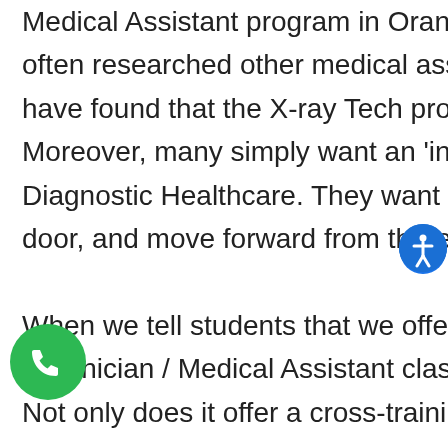Medical Assistant program in Orange County. They've often researched other medical assisting schools and have found that the X-ray Tech program is pricey. Moreover, many simply want an 'in' into the world of Diagnostic Healthcare. They want to get their foot in the door, and move forward from there.

When we tell students that we offer a combined X-ray Technician / Medical Assistant class, their eyes light up. Not only does it offer a cross-training